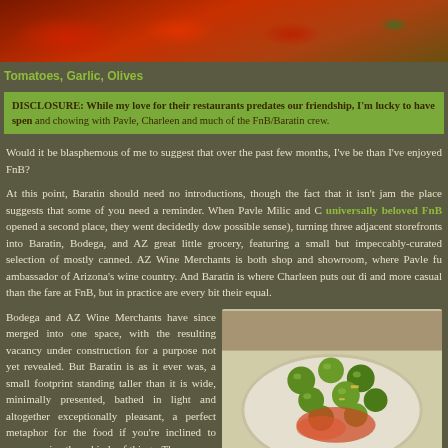[Figure (photo): Close-up photo of tomatoes, garlic, and olives]
Tomatoes, Garlic, Olives
DISCLOSURE: While my love for their restaurants predates our friendship, I'm lucky to have spen and chowing with Pavle, Charleen and much of the FnB/Baratin crew.
Would it be blasphemous of me to suggest that over the past few months, I've be than I've enjoyed FnB?

At this point, Baratin should need no introductions, though the fact that it isn't jam the place suggests that some of you need a reminder. When Pavle Milic and C universally beloved FnB opened a second place, they went decidedly dow possible sense), turning three adjacent storefronts into Baratin, Bodega, and AZ great little grocery, featuring a small but impeccably-curated selection of mostly canned. AZ Wine Merchants is both shop and showroom, where Pavle fu ambassador of Arizona's wine country. And Baratin is where Charleen puts out di and more casual than the fare at FnB, but in practice are every bit their equal.

Bodega and AZ Wine Merchants have since merged into one space, with the resulting vacancy under construction for a purpose not yet revealed. But Baratin is as it ever was, a small footprint standing taller than it is wide, minimally presented, bathed in light and altogether exceptionally pleasant, a perfect metaphor for the food if you're inclined to overexamine these kinds of things. The
[Figure (photo): Photo of green olives with sauce on a white plate]